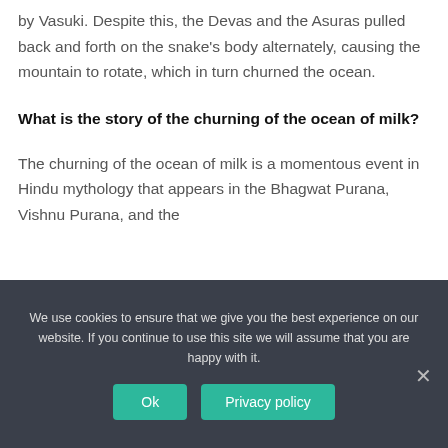by Vasuki. Despite this, the Devas and the Asuras pulled back and forth on the snake's body alternately, causing the mountain to rotate, which in turn churned the ocean.
What is the story of the churning of the ocean of milk?
The churning of the ocean of milk is a momentous event in Hindu mythology that appears in the Bhagwat Purana, Vishnu Purana, and the
We use cookies to ensure that we give you the best experience on our website. If you continue to use this site we will assume that you are happy with it.